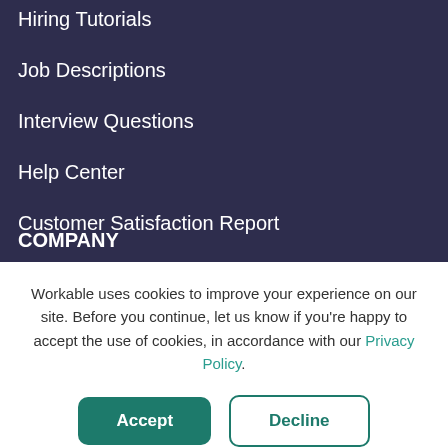Hiring Tutorials
Job Descriptions
Interview Questions
Help Center
Customer Satisfaction Report
Career Center
COMPANY
Workable uses cookies to improve your experience on our site. Before you continue, let us know if you're happy to accept the use of cookies, in accordance with our Privacy Policy.
Accept
Decline